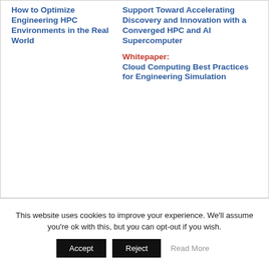How to Optimize Engineering HPC Environments in the Real World
Support Toward Accelerating Discovery and Innovation with a Converged HPC and AI Supercomputer
Whitepaper:
Cloud Computing Best Practices for Engineering Simulation
This website uses cookies to improve your experience. We'll assume you're ok with this, but you can opt-out if you wish.